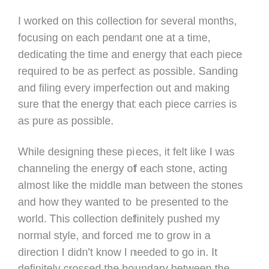I worked on this collection for several months, focusing on each pendant one at a time, dedicating the time and energy that each piece required to be as perfect as possible. Sanding and filing every imperfection out and making sure that the energy that each piece carries is as pure as possible.
While designing these pieces, it felt like I was channeling the energy of each stone, acting almost like the middle man between the stones and how they wanted to be presented to the world. This collection definitely pushed my normal style, and forced me to grow in a direction I didn't know I needed to go in. It definitely crossed the boundary between the physical world and the astral world. For the first time in my jewelry making career I felt like I was serving a purpose higher than myself.